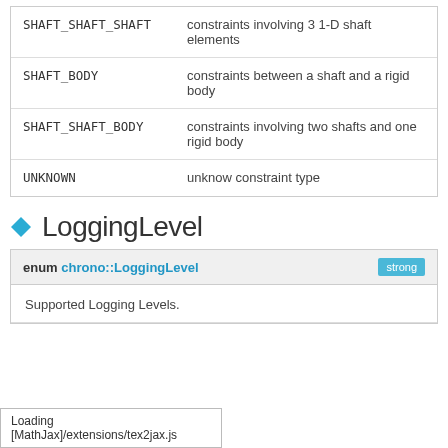| Enumerator | Description |
| --- | --- |
| SHAFT_SHAFT_SHAFT | constraints involving 3 1-D shaft elements |
| SHAFT_BODY | constraints between a shaft and a rigid body |
| SHAFT_SHAFT_BODY | constraints involving two shafts and one rigid body |
| UNKNOWN | unknow constraint type |
LoggingLevel
| enum chrono::LoggingLevel | strong |
| --- | --- |
| Supported Logging Levels. |  |
Loading [MathJax]/extensions/tex2jax.js